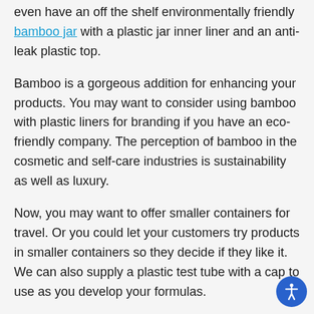even have an off the shelf environmentally friendly bamboo jar with a plastic jar inner liner and an anti-leak plastic top.
Bamboo is a gorgeous addition for enhancing your products. You may want to consider using bamboo with plastic liners for branding if you have an eco-friendly company. The perception of bamboo in the cosmetic and self-care industries is sustainability as well as luxury.
Now, you may want to offer smaller containers for travel. Or you could let your customers try products in smaller containers so they decide if they like it. We can also supply a plastic test tube with a cap to use as you develop your formulas.